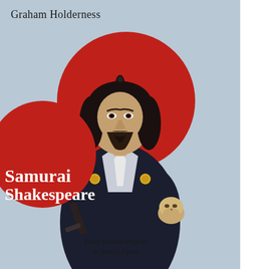[Figure (illustration): Book cover illustration: a figure resembling Shakespeare dressed in a dark samurai kimono with gold crests, holding a skull in one hand, with a sword at his side. He stands before a large red circle (Japanese rising sun motif) on a pale blue-grey background.]
Graham Holderness
Samurai Shakespeare
Early modern tragedy in feudal Japan